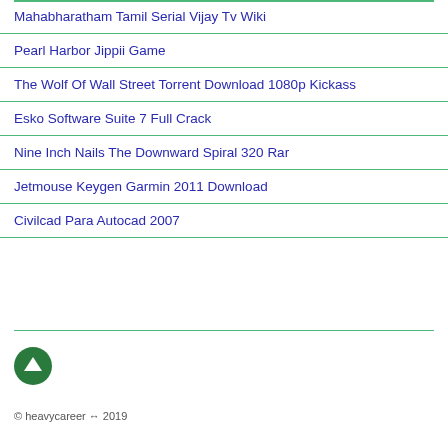Mahabharatham Tamil Serial Vijay Tv Wiki
Pearl Harbor Jippii Game
The Wolf Of Wall Street Torrent Download 1080p Kickass
Esko Software Suite 7 Full Crack
Nine Inch Nails The Downward Spiral 320 Rar
Jetmouse Keygen Garmin 2011 Download
Civilcad Para Autocad 2007
[Figure (illustration): Green circular arrow-up button (back to top)]
© heavycareer ↔ 2019